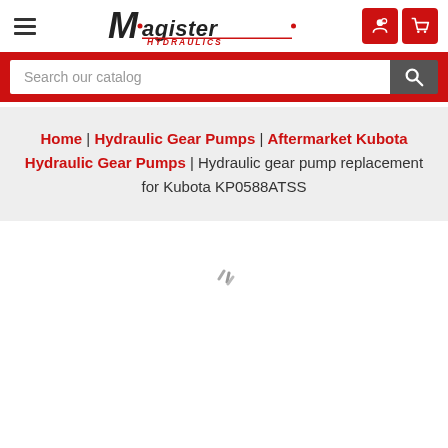[Figure (logo): Magister Hydraulics logo with stylized M and italic text]
Search our catalog
Home | Hydraulic Gear Pumps | Aftermarket Kubota Hydraulic Gear Pumps | Hydraulic gear pump replacement for Kubota KP0588ATSS